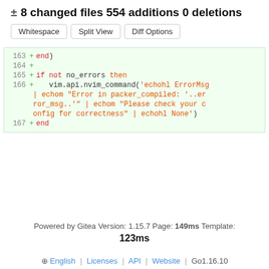± 8 changed files 554 additions 0 deletions
Whitespace | Split View | Diff Options
[Figure (screenshot): Code diff view showing lines 163-167 of a Lua script with additions marked in green background. Line 163: + end), Line 164: +, Line 165: + if not no_errors then, Line 166: + vim.api.nvim_command('echohl ErrorMsg | echom "Error in packer_compiled: '..error_msg..'" | echom "Please check your config for correctness" | echohl None'), Line 167: + end]
Powered by Gitea Version: 1.15.7 Page: 149ms Template: 123ms
English | Licenses | API | Website | Go1.16.10